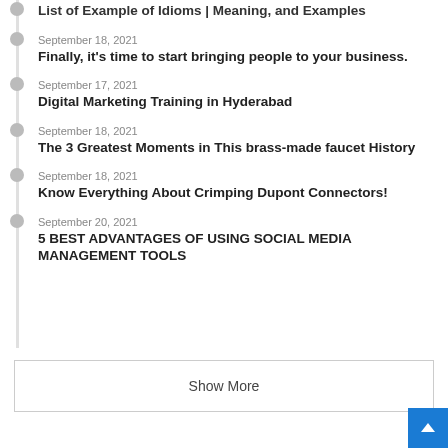List of Example of Idioms | Meaning, and Examples
September 18, 2021
Finally, it's time to start bringing people to your business.
September 17, 2021
Digital Marketing Training in Hyderabad
September 18, 2021
The 3 Greatest Moments in This brass-made faucet History
September 18, 2021
Know Everything About Crimping Dupont Connectors!
September 20, 2021
5 BEST ADVANTAGES OF USING SOCIAL MEDIA MANAGEMENT TOOLS
Show More